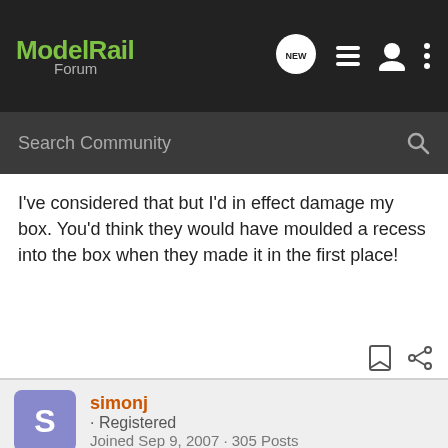ModelRail Forum — NEW icon, list icon, user icon, more icon
Search Community
I've considered that but I'd in effect damage my box. You'd think they would have moulded a recess into the box when they made it in the first place!
simonj · Registered
Joined Sep 9, 2007 · 305 Posts